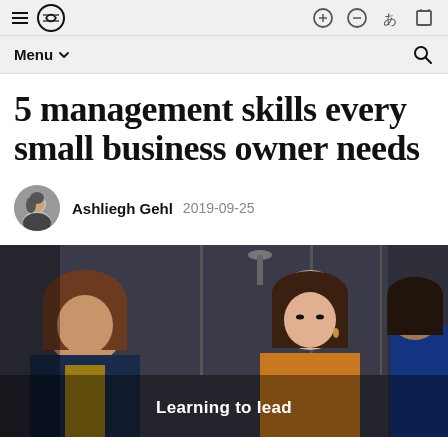Menu
5 management skills every small business owner needs
Ashliegh Gehl  2019-09-25
[Figure (photo): Two women in a professional meeting/discussion setting, with text overlay 'Learning to lead']